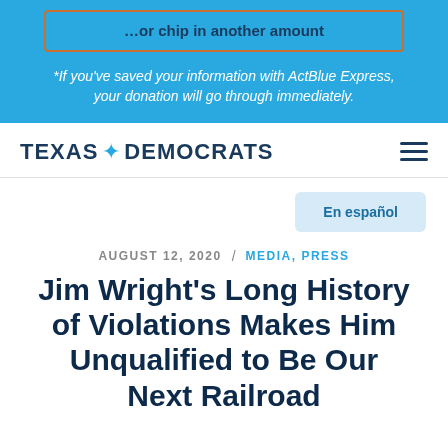...or chip in another amount
*If you've saved your information with ActBlue Express, your donation will go through immediately.
TEXAS ✦ DEMOCRATS
En español
AUGUST 12, 2020 / MEDIA, PRESS
Jim Wright's Long History of Violations Makes Him Unqualified to Be Our Next Railroad